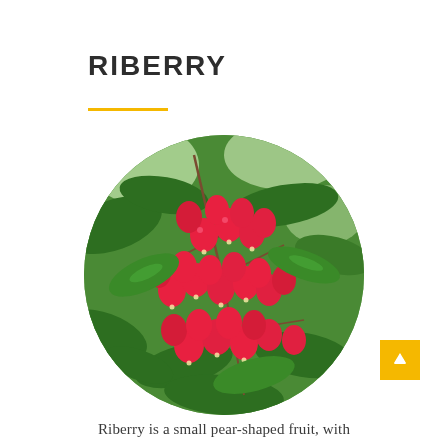RIBERRY
[Figure (photo): Circular cropped photo of riberry (Syzygium luehmannii) fruit — clusters of small bright red pear-shaped berries hanging from branches with green leaves]
Riberry is a small pear-shaped fruit, with